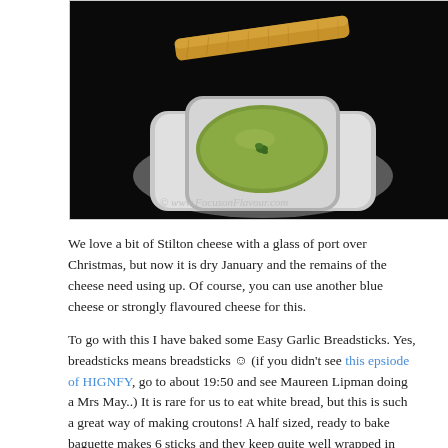[Figure (photo): A bowl of green soup (likely Stilton or blue cheese soup) garnished with a herb, placed on a white square plate with a breadstick/crouton resting on top, on a dark black background. Watermark: © www.FocusonFlavour.com]
We love a bit of Stilton cheese with a glass of port over Christmas, but now it is dry January and the remains of the cheese need using up. Of course, you can use another blue cheese or strongly flavoured cheese for this.
To go with this I have baked some Easy Garlic Breadsticks. Yes, breadsticks means breadsticks 😊 (if you didn't see this epsiode of HIGNFY, go to about 19:50 and see Maureen Lipman doing a Mrs May..) It is rare for us to eat white bread, but this is such a great way of making croutons! A half sized, ready to bake baguette makes 6 sticks and they keep quite well wrapped in foil.